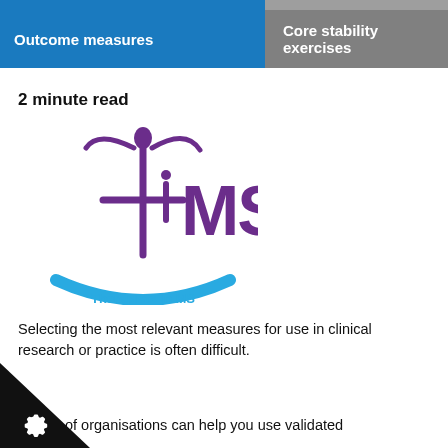| Outcome measures | Core stability exercises |
| --- | --- |
2 minute read
[Figure (logo): TiMS - Therapists in MS logo with purple figure/text and blue arc at bottom]
Selecting the most relevant measures for use in clinical research or practice is often difficult.
of organisations can help you use validated